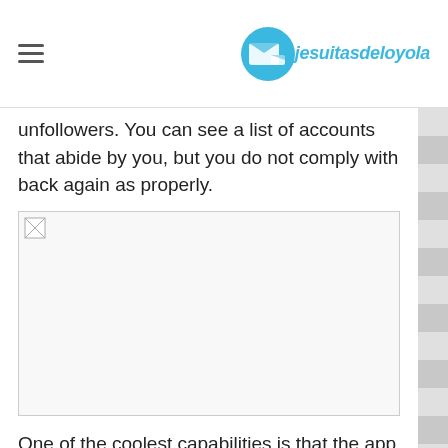jesuitasdeloyola
unfollowers. You can see a list of accounts that abide by you, but you do not comply with back again as properly.
[Figure (photo): Broken/missing image placeholder]
One of the coolest capabilities is that the app supports two diverse Instagram accounts at the similar time. You can also very easily observe or unfollow anyone from within the application utilizing the listing, which helps make follower management a doddle.
This app has a ton of consumers and is actively maintained by its developer. While it will present you who has unfollowed